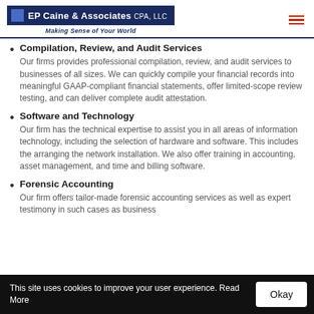[Figure (logo): EP Caine & Associates CPA, LLC logo with blue banner and tagline 'Making Sense of Your World']
Compilation, Review, and Audit Services
Our firms provides professional compilation, review, and audit services to businesses of all sizes. We can quickly compile your financial records into meaningful GAAP-compliant financial statements, offer limited-scope review testing, and can deliver complete audit attestation.
Software and Technology
Our firm has the technical expertise to assist you in all areas of information technology, including the selection of hardware and software. This includes the arranging the network installation. We also offer training in accounting, asset management, and time and billing software.
Forensic Accounting
Our firm offers tailor-made forensic accounting services as well as expert testimony in such cases as business...
This site uses cookies to improve your user experience. Read More